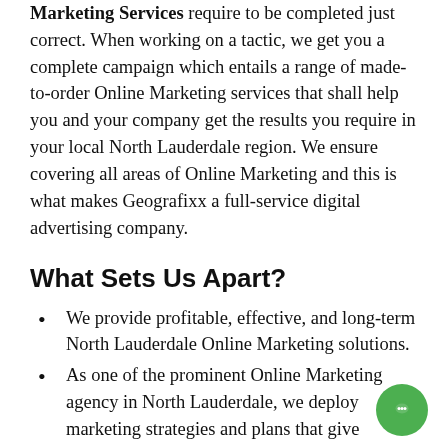Marketing Services require to be completed just correct. When working on a tactic, we get you a complete campaign which entails a range of made-to-order Online Marketing services that shall help you and your company get the results you require in your local North Lauderdale region. We ensure covering all areas of Online Marketing and this is what makes Geografixx a full-service digital advertising company.
What Sets Us Apart?
We provide profitable, effective, and long-term North Lauderdale Online Marketing solutions.
As one of the prominent Online Marketing agency in North Lauderdale, we deploy marketing strategies and plans that give...